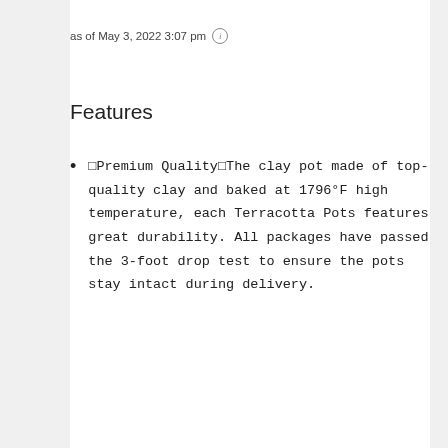as of May 3, 2022 3:07 pm ℹ
Features
🔲Premium Quality🔲The clay pot made of top-quality clay and baked at 1796°F high temperature, each Terracotta Pots features great durability. All packages have passed the 3-foot drop test to ensure the pots stay intact during delivery.
🔲Large and Practicality🔲The clay pots for plants, 6 inches in height, 6 inches in outer diameter, are designed for holding indoor or outdoor plant and succulent, cactus